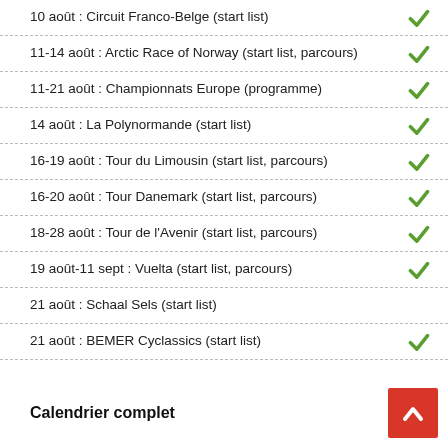10 août : Circuit Franco-Belge (start list) ✓
11-14 août : Arctic Race of Norway (start list, parcours) ✓
11-21 août : Championnats Europe (programme) ✓
14 août : La Polynormande (start list) ✓
16-19 août : Tour du Limousin (start list, parcours) ✓
16-20 août : Tour Danemark (start list, parcours) ✓
18-28 août : Tour de l'Avenir (start list, parcours) ✓
19 août-11 sept : Vuelta (start list, parcours) ✓
21 août : Schaal Sels (start list)
21 août : BEMER Cyclassics (start list) ✓
Calendrier complet